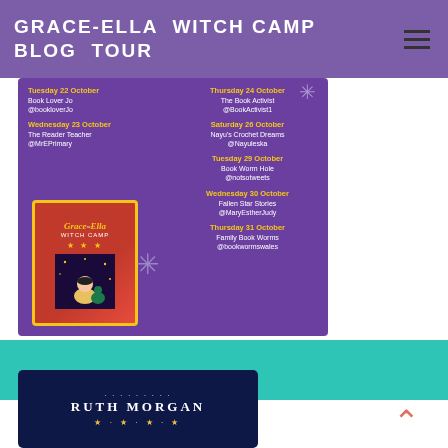GRACE-ELLA WITCH CAMP BLOG TOUR
[Figure (infographic): Blog tour schedule for Grace-Ella Witch Camp on a purple background. Left column: Tuesday 22 October - Book Lover Jo @bookloverJo; Wednesday 23 October - The Reader Teacher @MrEPrimary; book cover image. Right column: Thursday 24 October - The Book Activist @BookActivist1; Saturday 26 October - Nayu's Crochet Dreams @Nayuleska; Tuesday 29 October - Book Worm Hole @notsotweets; Wednesday 30 October - Fallen Star Stories @MaryEstherJudy; Thursday 31 October - Family Book Worms @bookwormswales.]
[Figure (photo): Ruth Morgan book cover or promotional card on a dark navy starry background with text 'RUTH MORGAN' in white capital letters.]